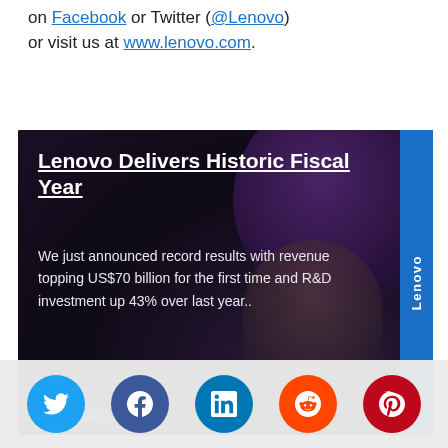on Facebook or Twitter (@Lenovo) or visit us at www.lenovo.com.
[Figure (photo): Lenovo promotional card with dark background showing a person, titled 'Lenovo Delivers Historic Fiscal Year' with text about record results and a Lenovo sidebar logo]
Lenovo Delivers Historic Fiscal Year
We just announced record results with revenue topping US$70 billion for the first time and R&D investment up 43% over last year..
Learn more
[Figure (infographic): Social media share buttons: Twitter (blue), Facebook (dark blue), LinkedIn (blue), Reddit (orange), Pinterest (red)]